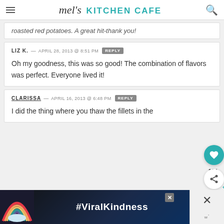mel's KITCHEN CAFE
roasted red potatoes. A great hit-thank you!
LIZ K. — APRIL 28, 2013 @ 8:51 PM REPLY
Oh my goodness, this was so good! The combination of flavors was perfect. Everyone lived it!
CLARISSA — APRIL 16, 2013 @ 6:48 PM REPLY
I did the thing where you thaw the fillets in the
[Figure (infographic): Advertisement banner with rainbow illustration and #ViralKindness text]